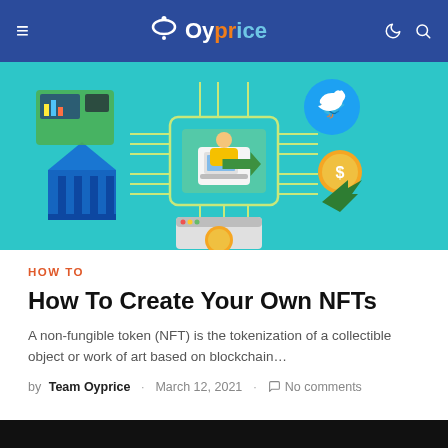Oyprice
[Figure (illustration): Hero illustration showing a person working on a laptop on a circuit board chip, surrounded by icons: a Twitter bird logo, a dollar coin with upward arrow, a bank/institution building, a browser window, and digital connection lines, all on a teal/cyan background representing blockchain/fintech concepts.]
HOW TO
How To Create Your Own NFTs
A non-fungible token (NFT) is the tokenization of a collectible object or work of art based on blockchain…
by Team Oyprice · March 12, 2021 · No comments